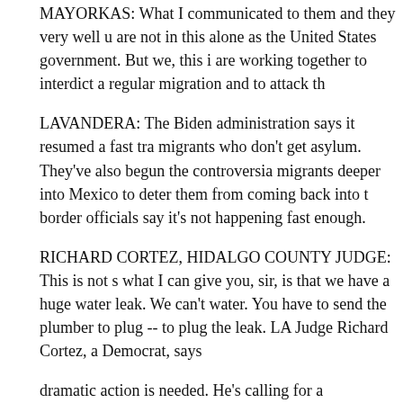MAYORKAS: What I communicated to them and they very well understood is that we are not in this alone as the United States government. But we, this is that we are working together to interdict a regular migration and to attack th
LAVANDERA: The Biden administration says it resumed a fast tra migrants who don't get asylum. They've also begun the controversia migrants deeper into Mexico to deter them from coming back into t border officials say it's not happening fast enough.
RICHARD CORTEZ, HIDALGO COUNTY JUDGE: This is not s what I can give you, sir, is that we have a huge water leak. We can't water. You have to send the plumber to plug -- to plug the leak. LA Judge Richard Cortez, a Democrat, says
dramatic action is needed. He's calling for a moratorium on migran
CORTEZ: Because what it does, it stops the leak. It gives us time to